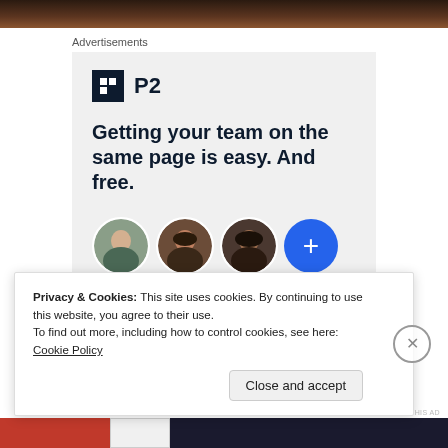[Figure (photo): Top dark banner image showing people]
Advertisements
[Figure (infographic): P2 advertisement with logo, headline 'Getting your team on the same page is easy. And free.' and circular profile photos of three people plus a blue plus button]
Privacy & Cookies: This site uses cookies. By continuing to use this website, you agree to their use.
To find out more, including how to control cookies, see here: Cookie Policy
Close and accept